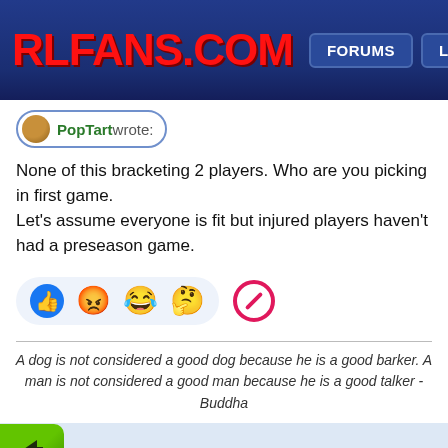RLFANS.COM — FORUMS | LIVE
PopTart wrote:
None of this bracketing 2 players. Who are you picking in first game.
Let's assume everyone is fit but injured players haven't had a preseason game.
[Figure (infographic): Row of reaction emoji icons: thumbs up (blue circle), angry face emoji, laughing emoji, thinking/hmm emoji, and a ban/no symbol icon]
A dog is not considered a good dog because he is a good barker. A man is not considered a good man because he is a good talker - Buddha